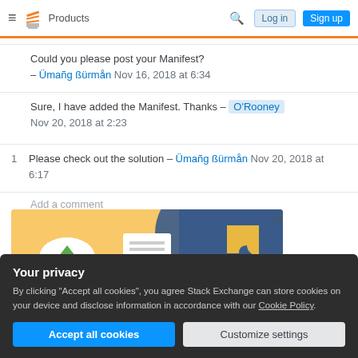Stack Overflow navigation bar with hamburger menu, logo, Products link, search icon, Log in button, Sign up button
Could you please post your Manifest? – Ümañg ßürmån Nov 16, 2018 at 6:34
Sure, I have added the Manifest. Thanks – O'Rooney Nov 20, 2018 at 2:23
1 Please check out the solution – Ümañg ßürmån Nov 20, 2018 at 6:17
Add a comment
[Figure (illustration): Stack Exchange advertisement banner with cloud upload icon, gear/settings icon on a document, and a puzzle piece on a dark blue background]
Your privacy
By clicking "Accept all cookies", you agree Stack Exchange can store cookies on your device and disclose information in accordance with our Cookie Policy.
Accept all cookies  Customize settings